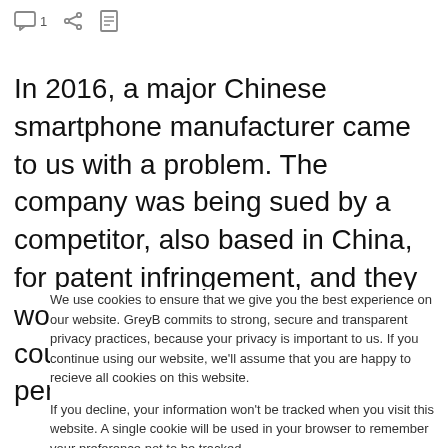comment icon 1 | share icon | print icon
In 2016, a major Chinese smartphone manufacturer came to us with a problem. The company was being sued by a competitor, also based in China, for patent infringement, and they would soon have to appear in court to defend themselves. The penalties for patent
We use cookies to ensure that we give you the best experience on our website. GreyB commits to strong, secure and transparent privacy practices, because your privacy is important to us. If you continue using our website, we'll assume that you are happy to recieve all cookies on this website.

If you decline, your information won't be tracked when you visit this website. A single cookie will be used in your browser to remember your preference not to be tracked.
Continue | Learn More